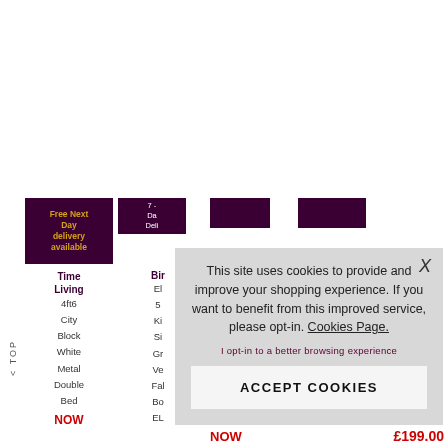[Figure (screenshot): Background of an e-commerce furniture website showing product cards with dark purple promotional badges saying 'Free Next Day delivery available' and '7 - Day Delivery', with product labels for Time Living and Birlea brands, sizes and color options listed, and red NOW price labels.]
Free Next Day delivery available
7 - Day Delivery
Time Living
4ft6
City
Block
White
Metal
Double
Bed
Bir
El
5
Ki
Si
Gr
Ve
Fal
Bo
EL
NOW
NOW
£199.00
< TOP
This site uses cookies to provide and improve your shopping experience. If you want to benefit from this improved service, please opt-in. Cookies Page.
I opt-in to a better browsing experience
ACCEPT COOKIES